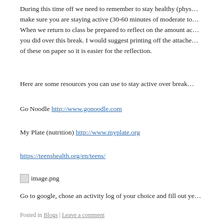During this time off we need to remember to stay healthy (phys... make sure you are staying active (30-60 minutes of moderate to... When we return to class be prepared to reflect on the amount ac... you did over this break. I would suggest printing off the attache... of these on paper so it is easier for the reflection.
Here are some resources you can use to stay active over break...
Go Noodle http://www.gonoodle.com
My Plate (nutrition) http://www.myplate.org
https://teenshealth.org/en/teens/
[Figure (photo): Broken image placeholder labeled image.png]
Go to google, chose an activity log of your choice and fill out ye...
Posted in Blogs | Leave a comment